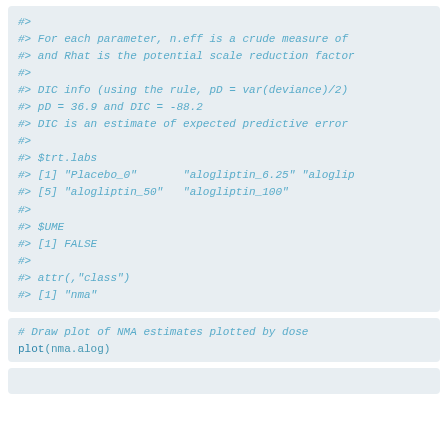#>
#> For each parameter, n.eff is a crude measure of
#> and Rhat is the potential scale reduction factor
#>
#> DIC info (using the rule, pD = var(deviance)/2)
#> pD = 36.9 and DIC = -88.2
#> DIC is an estimate of expected predictive error
#>
#> $trt.labs
#> [1] "Placebo_0"       "alogliptin_6.25" "aloglip
#> [5] "alogliptin_50"    "alogliptin_100"
#>
#> $UME
#> [1] FALSE
#>
#> attr(,"class")
#> [1] "nma"
# Draw plot of NMA estimates plotted by dose
plot(nma.alog)